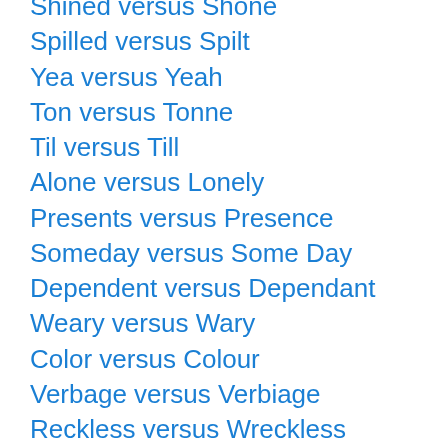Shined versus Shone
Spilled versus Spilt
Yea versus Yeah
Ton versus Tonne
Til versus Till
Alone versus Lonely
Presents versus Presence
Someday versus Some Day
Dependent versus Dependant
Weary versus Wary
Color versus Colour
Verbage versus Verbiage
Reckless versus Wreckless
Regime versus Regimen
Wonder versus Wander